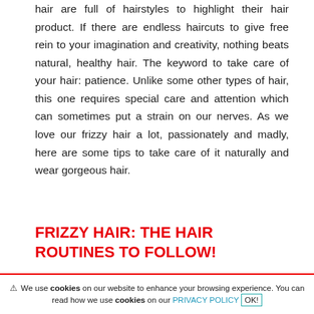hair are full of hairstyles to highlight their hair product. If there are endless haircuts to give free rein to your imagination and creativity, nothing beats natural, healthy hair. The keyword to take care of your hair: patience. Unlike some other types of hair, this one requires special care and attention which can sometimes put a strain on our nerves. As we love our frizzy hair a lot, passionately and madly, here are some tips to take care of it naturally and wear gorgeous hair.
FRIZZY HAIR: THE HAIR ROUTINES TO FOLLOW!
If for Shakespeare the question was, to be or not
⚠ We use cookies on our website to enhance your browsing experience. You can read how we use cookies on our PRIVACY POLICY OK!